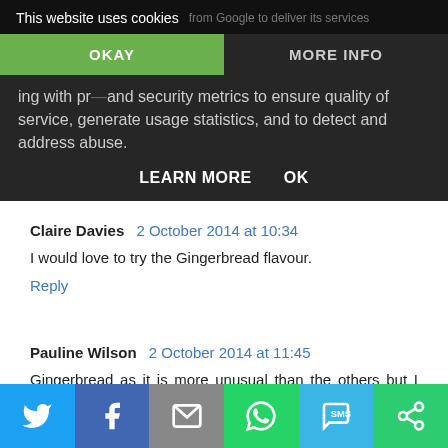[Figure (screenshot): Cookie consent overlay with 'This website uses cookies' heading, OKAY and MORE INFO buttons, body text about Google services, IP address, security metrics, usage statistics, and LEARN MORE / OK action buttons.]
Claire Davies  2 October 2014 at 10:34
I would love to try the Gingerbread flavour.
Reply
Pauline Wilson  2 October 2014 at 11:45
Gingerbread as it is more unusual than the others but I think it would be nice
Reply
[Figure (screenshot): Social share bar at bottom with Twitter, Facebook, email, WhatsApp, SMS, and other sharing icons.]